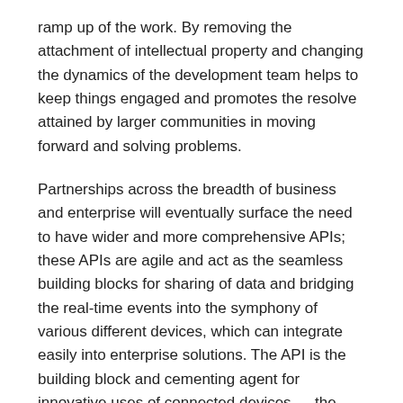ramp up of the work. By removing the attachment of intellectual property and changing the dynamics of the development team helps to keep things engaged and promotes the resolve attained by larger communities in moving forward and solving problems.
Partnerships across the breadth of business and enterprise will eventually surface the need to have wider and more comprehensive APIs; these APIs are agile and act as the seamless building blocks for sharing of data and bridging the real-time events into the symphony of various different devices, which can integrate easily into enterprise solutions. The API is the building block and cementing agent for innovative uses of connected devices — the Internet of Things.
For example, partnerships between two companies can quickly enable the creation of smart energy service, opening up opportunities to integrate energy appliances combined with data analytics showing home heating and air conditioning as well as consumer usage. An output like this not only creates added